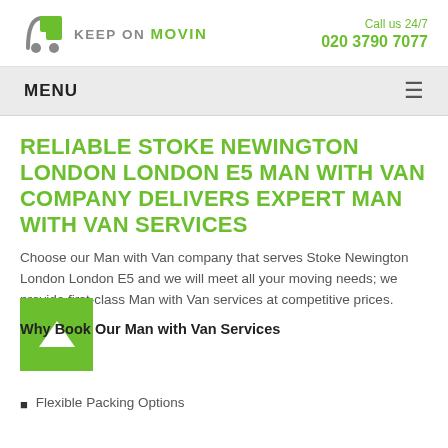[Figure (logo): Keep On Movin logo with green moving cart icon and text]
Call us 24/7
020 3790 7077
MENU
RELIABLE STOKE NEWINGTON LONDON LONDON E5 MAN WITH VAN COMPANY DELIVERS EXPERT MAN WITH VAN SERVICES
Choose our Man with Van company that serves Stoke Newington London London E5 and we will meet all your moving needs; we provide first-class Man with Van services at competitive prices.
Why Book Our Man with Van Services
Flexible Packing Options